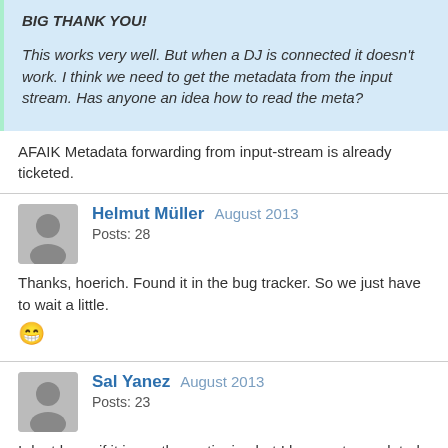BIG THANK YOU!

This works very well. But when a DJ is connected it doesn't work. I think we need to get the metadata from the input stream. Has anyone an idea how to read the meta?
AFAIK Metadata forwarding from input-stream is already ticketed.
Helmut Müller  August 2013
Posts: 28
Thanks, hoerich. Found it in the bug tracker. So we just have to wait a little. 😁
Sal Yanez  August 2013
Posts: 23
I dont know if it is worth mentioning but I have not completed the steps above but my metadata is being sent to the TuneIn mobile apps but not the site. Looks like I will be trying this out.
Post edited by Sal Yanez at 2013-08-09 23:33:52